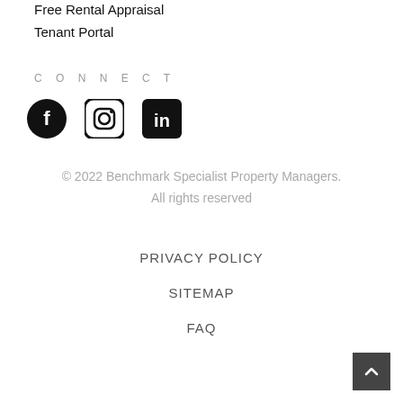Free Rental Appraisal
Tenant Portal
CONNECT
[Figure (illustration): Three social media icons: Facebook, Instagram, LinkedIn]
© 2022 Benchmark Specialist Property Managers. All rights reserved
PRIVACY POLICY
SITEMAP
FAQ
[Figure (illustration): Scroll to top button arrow]